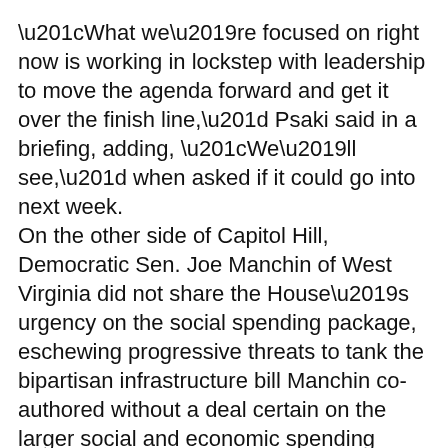“What we’re focused on right now is working in lockstep with leadership to move the agenda forward and get it over the finish line,” Psaki said in a briefing, adding, “We’ll see,” when asked if it could go into next week. On the other side of Capitol Hill, Democratic Sen. Joe Manchin of West Virginia did not share the House’s urgency on the social spending package, eschewing progressive threats to tank the bipartisan infrastructure bill Manchin co-authored without a deal certain on the larger social and economic spending package. “I don’t do really good on threats,” Manchin told reporters. “I’ll guarantee you this: The infrastructure bill will be passed before November 2022, before the election.” Biden spoke on the phone with Pelosi and Senate